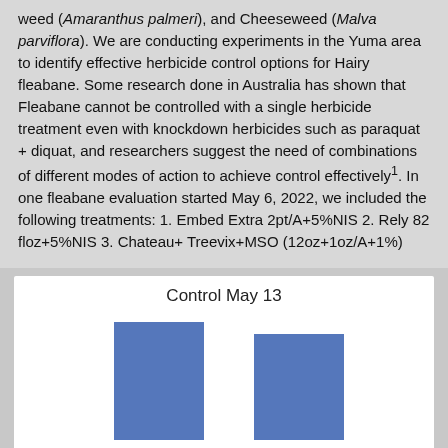weed (Amaranthus palmeri), and Cheeseweed (Malva parviflora). We are conducting experiments in the Yuma area to identify effective herbicide control options for Hairy fleabane. Some research done in Australia has shown that Fleabane cannot be controlled with a single herbicide treatment even with knockdown herbicides such as paraquat + diquat, and researchers suggest the need of combinations of different modes of action to achieve control effectively¹. In one fleabane evaluation started May 6, 2022, we included the following treatments: 1. Embed Extra 2pt/A+5%NIS 2. Rely 82 floz+5%NIS 3. Chateau+ Treevix+MSO (12oz+1oz/A+1%)
[Figure (bar-chart): Control May 13]